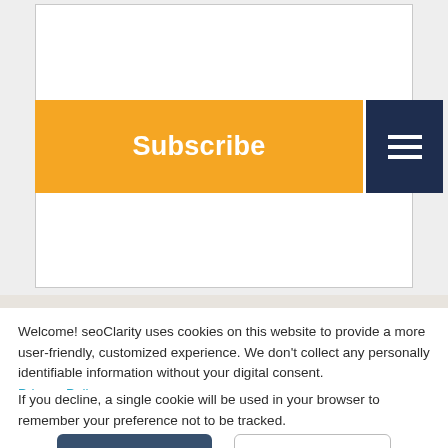[Figure (screenshot): Subscribe button (orange) and hamburger menu button (dark navy) on a website widget]
[Figure (photo): Partial photo of metal plumbing fittings/gears in golden/bronze color, partially visible at the bottom of the page]
Welcome! seoClarity uses cookies on this website to provide a more user-friendly, customized experience. We don't collect any personally identifiable information without your digital consent. Privacy Policy
If you decline, a single cookie will be used in your browser to remember your preference not to be tracked.
Accept
Decline